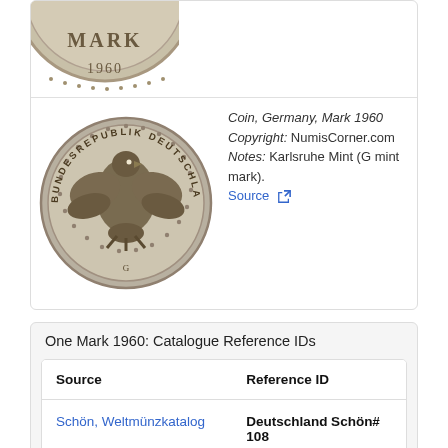[Figure (photo): Top portion of a German Mark 1960 coin showing MARK and 1960 text, cropped]
[Figure (photo): Reverse side of German Mark 1960 coin showing Bundesadler (federal eagle) with BUNDESREPUBLIK DEUTSCHLAND inscription]
Coin, Germany, Mark 1960 Copyright: NumisCorner.com Notes: Karlsruhe Mint (G mint mark). Source
One Mark 1960: Catalogue Reference IDs
| Source | Reference ID |
| --- | --- |
| Schön, Weltmünzkatalog | Deutschland Schön# 108 |